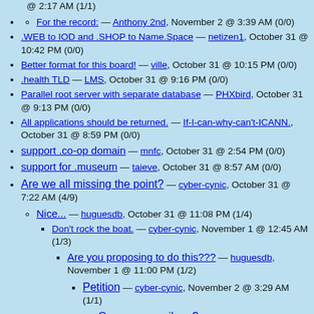@ 2:17 AM (1/1)
For the record: — Anthony 2nd, November 2 @ 3:39 AM (0/0)
.WEB to IOD and .SHOP to Name.Space — netizen1, October 31 @ 10:42 PM (0/0)
Better format for this board! — ville, October 31 @ 10:15 PM (0/0)
.health TLD — LMS, October 31 @ 9:16 PM (0/0)
Parallel root server with separate database — PHXbird, October 31 @ 9:13 PM (0/0)
All applications should be returned. — If-I-can-why-can't-ICANN., October 31 @ 8:59 PM (0/0)
support .co-op domain — mnfc, October 31 @ 2:54 PM (0/0)
support for .museum — taieve, October 31 @ 8:57 AM (0/0)
Are we all missing the point? — cyber-cynic, October 31 @ 7:22 AM (4/9)
Nice... — huguesdb, October 31 @ 11:08 PM (1/4)
Don't rock the boat. — cyber-cynic, November 1 @ 12:45 AM (1/3)
Are you proposing to do this??? — huguesdb, November 1 @ 11:00 PM (1/2)
Petition — cyber-cynic, November 2 @ 3:29 AM (1/1)
Can you e-mail me? — huguesdb, November